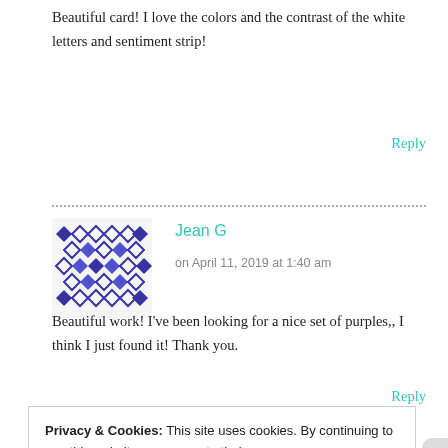Beautiful card! I love the colors and the contrast of the white letters and sentiment strip!
Reply
[Figure (illustration): Geometric avatar with blue and purple diamond/cross pattern for user Jean G]
Jean G
on April 11, 2019 at 1:40 am
Beautiful work! I've been looking for a nice set of purples,, I think I just found it! Thank you.
Reply
Privacy & Cookies: This site uses cookies. By continuing to use this website, you agree to their use.
To find out more, including how to control cookies, see here: Cookie Policy
Close and accept